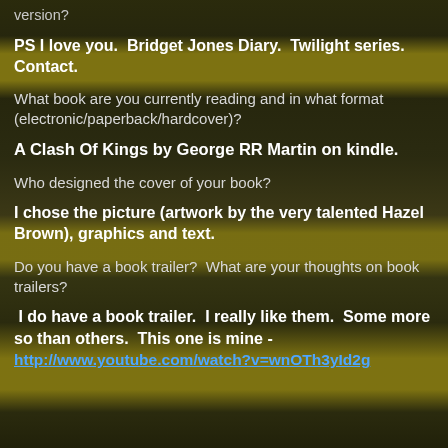version?
PS I love you.  Bridget Jones Diary.  Twilight series.  Contact.
What book are you currently reading and in what format (electronic/paperback/hardcover)?
A Clash Of Kings by George RR Martin on kindle.
Who designed the cover of your book?
I chose the picture (artwork by the very talented Hazel Brown), graphics and text.
Do you have a book trailer?  What are your thoughts on book trailers?
I do have a book trailer.  I really like them.  Some more so than others.  This one is mine - http://www.youtube.com/watch?v=wnOTh3yId2g